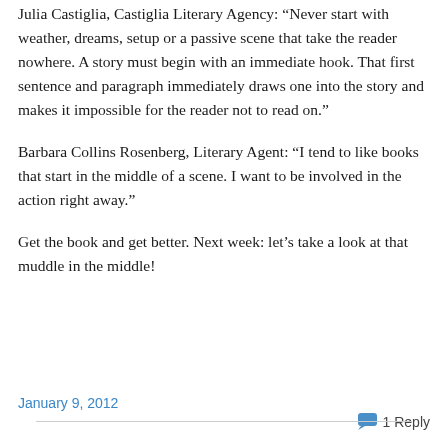Julia Castiglia, Castiglia Literary Agency: “Never start with weather, dreams, setup or a passive scene that take the reader nowhere. A story must begin with an immediate hook. That first sentence and paragraph immediately draws one into the story and makes it impossible for the reader not to read on.”
Barbara Collins Rosenberg, Literary Agent: “I tend to like books that start in the middle of a scene. I want to be involved in the action right away.”
Get the book and get better. Next week: let’s take a look at that muddle in the middle!
January 9, 2012   1 Reply